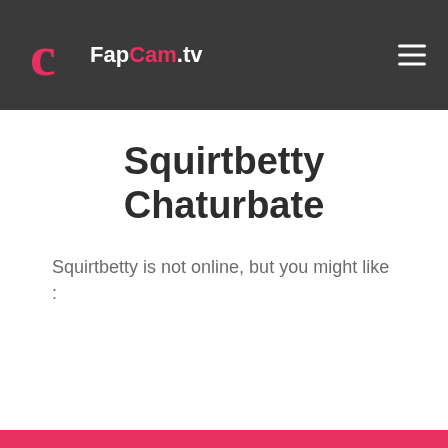FapCam.tv
Squirtbetty Chaturbate
Squirtbetty is not online, but you might like :